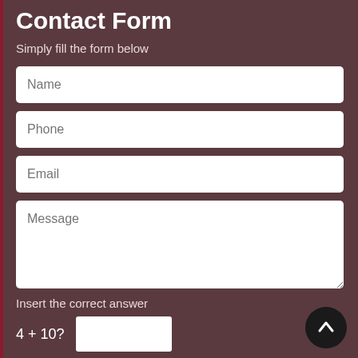Contact Form
Simply fill the form below
[Figure (screenshot): Contact form UI with fields for Name, Phone, Email, Message, a CAPTCHA math question (4 + 10?), a Submit button, and a scroll-to-top arrow button.]